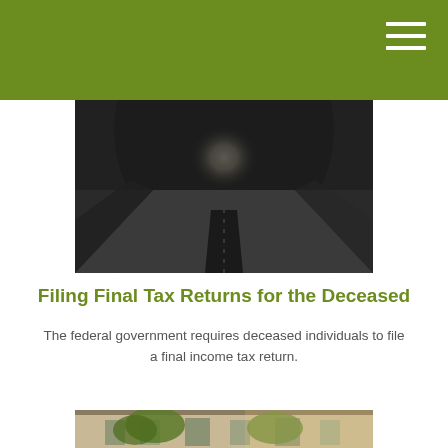[Figure (other): Olive green header navigation bar with hamburger menu icon (three white horizontal lines) in top right corner]
[Figure (photo): Black and white photograph of a road going through a tunnel with light visible at the far end]
Filing Final Tax Returns for the Deceased
The federal government requires deceased individuals to file a final income tax return.
[Figure (photo): Color photograph of a building exterior with trees in foreground, partially visible at bottom of page]